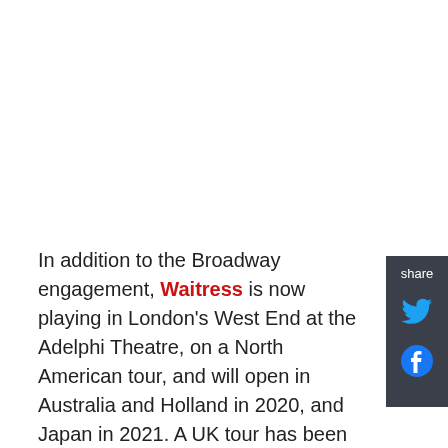In addition to the Broadway engagement, Waitress is now playing in London's West End at the Adelphi Theatre, on a North American tour, and will open in Australia and Holland in 2020, and Japan in 2021. A UK tour has been announced for 2020 as well. The show's producers are also in talks with over 20 international markets about future productions.